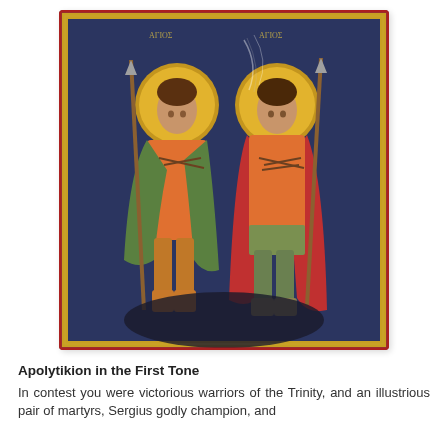[Figure (illustration): Orthodox Christian icon depicting two holy warrior martyrs, Sergius and Bacchus, standing side by side against a dark blue background. Each figure has a golden halo and wears Roman military attire in orange/red and green garments with cloaks. The icon has a red/gold decorative border and shows signs of age.]
Apolytikion in the First Tone
In contest you were victorious warriors of the Trinity, and an illustrious pair of martyrs, Sergius godly champion, and